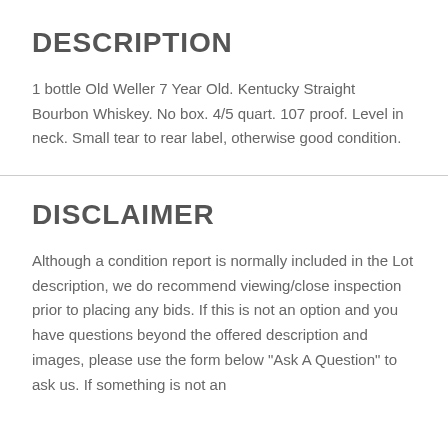DESCRIPTION
1 bottle Old Weller 7 Year Old. Kentucky Straight Bourbon Whiskey. No box. 4/5 quart. 107 proof. Level in neck. Small tear to rear label, otherwise good condition.
DISCLAIMER
Although a condition report is normally included in the Lot description, we do recommend viewing/close inspection prior to placing any bids. If this is not an option and you have questions beyond the offered description and images, please use the form below "Ask A Question" to ask us. If something is not an...